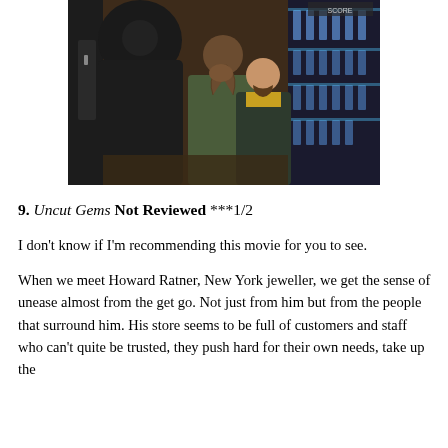[Figure (photo): A still from the film Uncut Gems showing three men in a jewelry store. Two men in jackets appear to be in a tense conversation with a third man who has his hands raised.]
9. Uncut Gems Not Reviewed ***1/2
I don't know if I'm recommending this movie for you to see.
When we meet Howard Ratner, New York jeweller, we get the sense of unease almost from the get go. Not just from him but from the people that surround him. His store seems to be full of customers and staff who can't quite be trusted, they push hard for their own needs, take up the